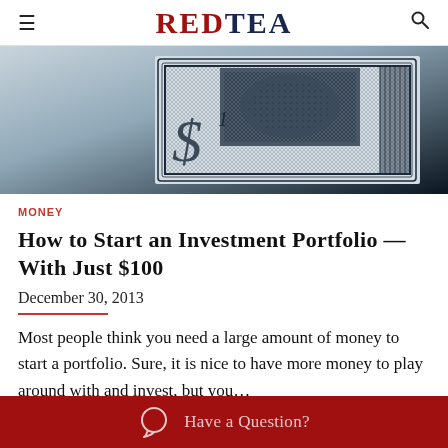RedTea
[Figure (photo): Close-up photo of a US dollar bill showing intricate engraving details]
MONEY
How to Start an Investment Portfolio — With Just $100
December 30, 2013
Most people think you need a large amount of money to start a portfolio. Sure, it is nice to have more money to play around with and invest, but you…
Have a Question?